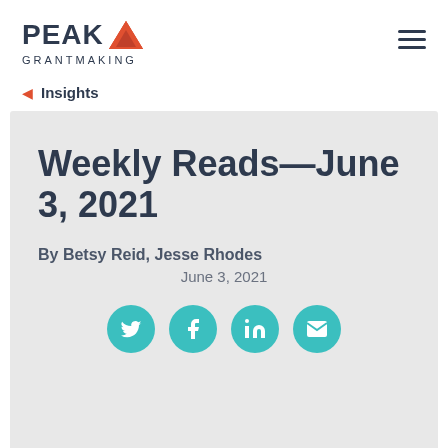[Figure (logo): Peak Grantmaking logo with orange triangle mountain icon and dark navy text]
Insights
Weekly Reads—June 3, 2021
By Betsy Reid, Jesse Rhodes
June 3, 2021
[Figure (infographic): Social share icons: Twitter, Facebook, LinkedIn, Email — teal circular buttons]